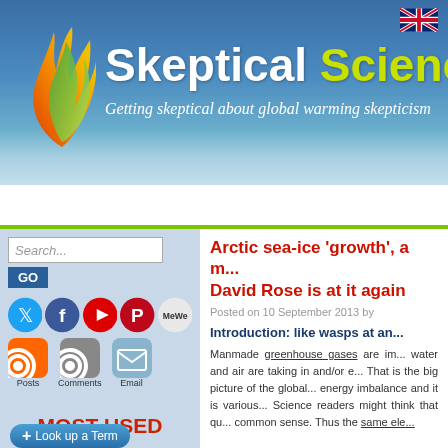Skeptical Science — Getting skeptical about global warming skepticism
[Figure (logo): Skeptical Science website header with flame/leaf logo, site title, and tagline]
Home | Arguments | Software | Resources | Comments
Arctic sea-ice 'growth', a m... David Rose is at it again
Posted on 10 September 2013 by
Introduction: like wasps at an...
Manmade greenhouse gases are im... water and air are taking in and/or e... That is the big picture of the global... energy imbalance and it is various... Science readers might think that qu... common sense. Thus the same ele...
MOST USED
+ Look up a Term